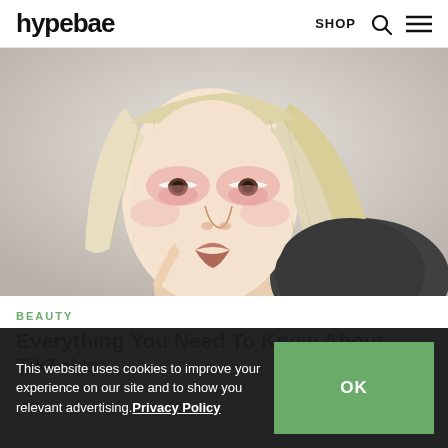hypebae | SHOP
[Figure (photo): Close-up portrait of a young woman with platinum blonde straight hair with bangs, wearing pink/rose-toned eye makeup, resting her chin on her hand, looking directly at camera against a light background.]
BEAUTY
Everything You Need To Know About TikTok's
This website uses cookies to improve your experience on our site and to show you relevant advertising. Privacy Policy
OK